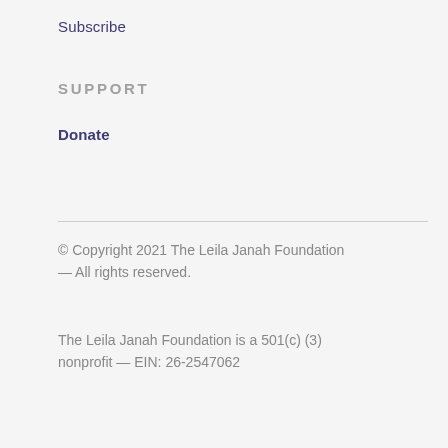Subscribe
SUPPORT
Donate
© Copyright 2021 The Leila Janah Foundation — All rights reserved.
The Leila Janah Foundation is a 501(c) (3) nonprofit — EIN: 26-2547062